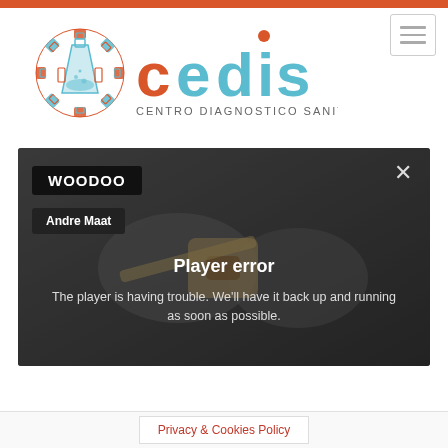[Figure (logo): CEDIS Centro Diagnostico Sanitario logo with DNA helix and laboratory flask icon]
[Figure (screenshot): Video player showing error: 'Player error - The player is having trouble. We'll have it back up and running as soon as possible.' with WOODOO and Andre Maat tags, and a close X button. Background shows hands holding a wooden puzzle piece.]
Privacy & Cookies Policy